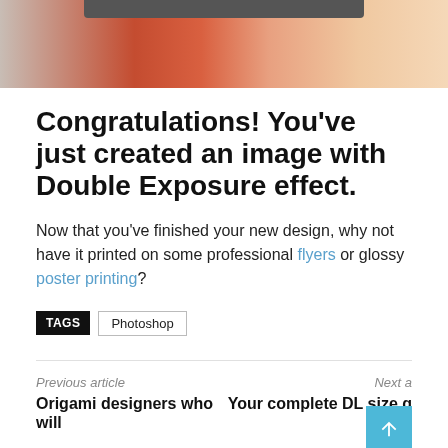[Figure (photo): Partial view of a double exposure effect image with a dark top bar/UI element and orange-red blended imagery]
Congratulations! You've just created an image with Double Exposure effect.
Now that you've finished your new design, why not have it printed on some professional flyers or glossy poster printing?
TAGS  Photoshop
Previous article
Origami designers who will
Next a...
Your complete DL size g...